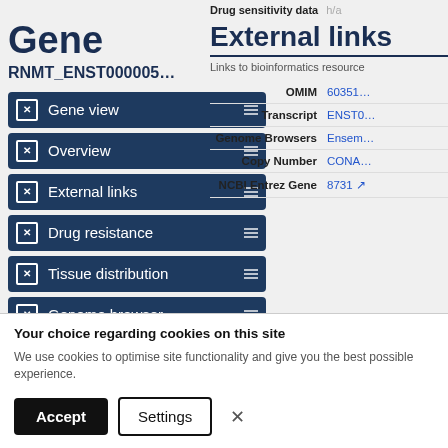Drug sensitivity data   h/a
Gene
RNMT_ENST000005…
Gene view
Overview
External links
Drug resistance
Tissue distribution
Genome browser
Mutation distribution
Variants
External links
Links to bioinformatics resource
|  |  |
| --- | --- |
| OMIM | 60351… |
| Transcript | ENST0… |
| Genome Browsers | Ensem… |
| Copy Number | CONA… |
| NCBI Entrez Gene | 8731 |
Your choice regarding cookies on this site
We use cookies to optimise site functionality and give you the best possible experience.
Accept   Settings   ×